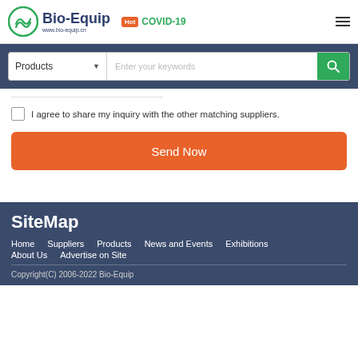[Figure (logo): Bio-Equip logo with green circular icon, bold blue text 'Bio-Equip' and URL 'www.bio-equip.cn']
Hot COVID-19
Products   Enter your keywords
I agree to share my inquiry with the other matching suppliers.
Send Now
SiteMap
Home   Suppliers   Products   News and Events   Exhibitions   About Us   Advertise on Site
Copyright(C) 2006-2022 Bio-Equip